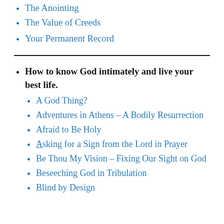The Anointing
The Value of Creeds
Your Permanent Record
How to know God intimately and live your best life.
A God Thing?
Adventures in Athens – A Bodily Resurrection
Afraid to Be Holy
Asking for a Sign from the Lord in Prayer
Be Thou My Vision – Fixing Our Sight on God
Beseeching God in Tribulation
Blind by Design